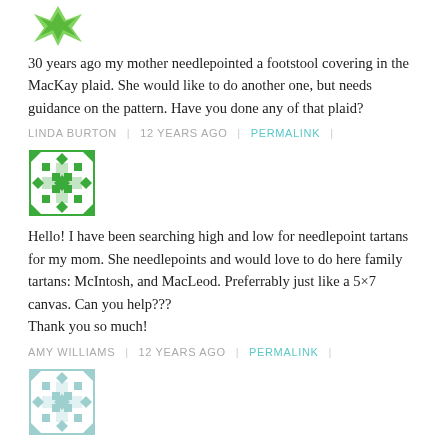[Figure (illustration): Green decorative avatar icon (star/leaf shape) for first commenter]
30 years ago my mother needlepointed a footstool covering in the MacKay plaid. She would like to do another one, but needs guidance on the pattern. Have you done any of that plaid?
LINDA BURTON | 12 YEARS AGO | PERMALINK |
[Figure (illustration): Green geometric/tartan pattern avatar icon for second commenter]
Hello! I have been searching high and low for needlepoint tartans for my mom. She needlepoints and would love to do here family tartans: McIntosh, and MacLeod. Preferrably just like a 5×7 canvas. Can you help???
Thank you so much!
AMY WILLIAMS | 12 YEARS AGO | PERMALINK |
[Figure (illustration): Light blue/grey geometric tartan pattern avatar icon for third commenter]
I am doing a piece with the royal Stewart hunting plaid with thistle